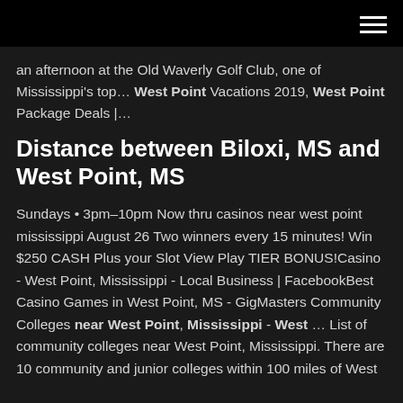hamburger menu icon
an afternoon at the Old Waverly Golf Club, one of Mississippi's top... West Point Vacations 2019, West Point Package Deals |...
Distance between Biloxi, MS and West Point, MS
Sundays • 3pm–10pm Now thru casinos near west point mississippi August 26 Two winners every 15 minutes! Win $250 CASH Plus your Slot View Play TIER BONUS!Casino - West Point, Mississippi - Local Business | FacebookBest Casino Games in West Point, MS - GigMasters Community Colleges near West Point, Mississippi - West ... List of community colleges near West Point, Mississippi. There are 10 community and junior colleges within 100 miles of West